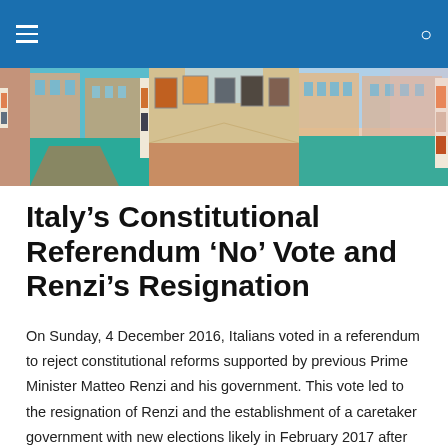Navigation bar with hamburger menu and search icon
[Figure (photo): Panoramic banner image showing art gallery interiors combined with Venetian canal architecture, three panels side by side]
Italy’s Constitutional Referendum ‘No’ Vote and Renzi’s Resignation
On Sunday, 4 December 2016, Italians voted in a referendum to reject constitutional reforms supported by previous Prime Minister Matteo Renzi and his government. This vote led to the resignation of Renzi and the establishment of a caretaker government with new elections likely in February 2017 after the Constitutional